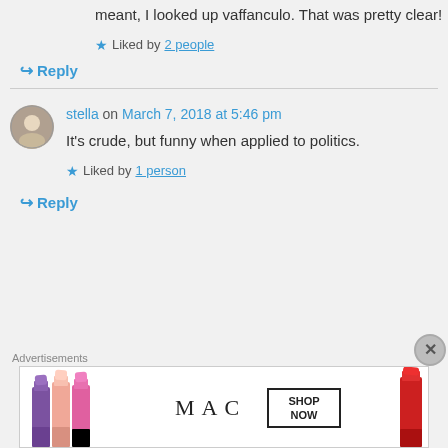meant, I looked up vaffanculo. That was pretty clear!
Liked by 2 people
Reply
stella on March 7, 2018 at 5:46 pm
It's crude, but funny when applied to politics.
Liked by 1 person
Reply
Advertisements
[Figure (photo): MAC cosmetics advertisement banner showing lipsticks in purple, pink, and red with MAC logo and SHOP NOW box]